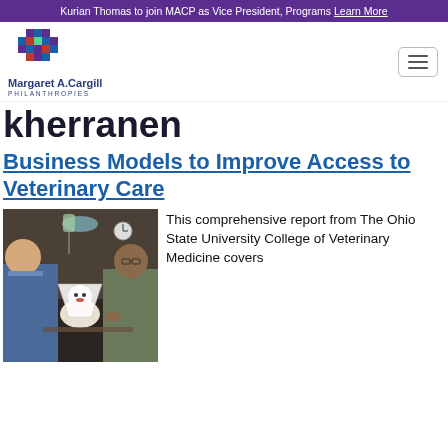Kurian Thomas to join MACP as Vice President, Programs Learn More
[Figure (logo): Margaret A. Cargill Philanthropies logo with colorful diamond grid pattern above the text name]
kherranen
Business Models to Improve Access to Veterinary Care
[Figure (photo): A veterinarian and a man holding a small white dog wearing an e-collar in a veterinary clinic setting]
This comprehensive report from The Ohio State University College of Veterinary Medicine covers